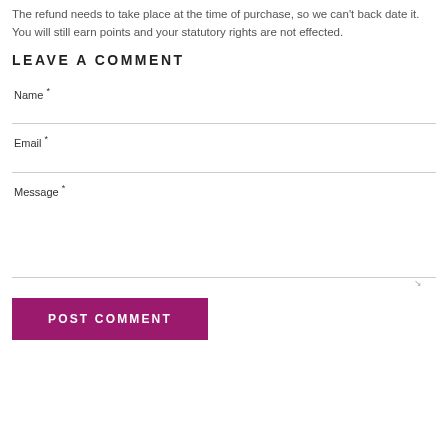The refund needs to take place at the time of purchase, so we can't back date it. You will still earn points and your statutory rights are not effected.
LEAVE A COMMENT
Name *
Email *
Message *
POST COMMENT